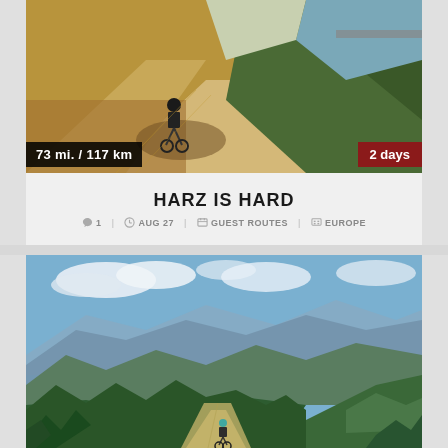[Figure (photo): Cyclist riding on a gravel path with a lake and forested hills in the background, warm golden tones]
73 mi. / 117 km
2 days
HARZ IS HARD
1  AUG 27  GUEST ROUTES  EUROPE
[Figure (photo): Cyclist climbing a gravel mountain road surrounded by dense green forest with a vast mountain panorama and blue sky in the background]